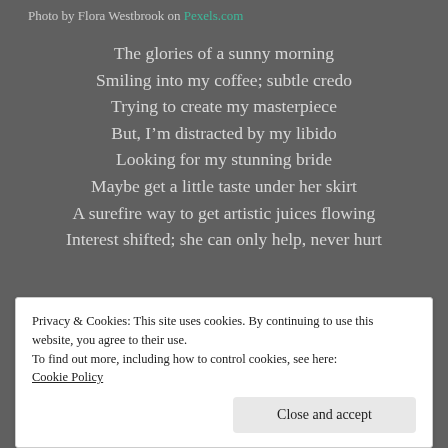Photo by Flora Westbrook on Pexels.com
The glories of a sunny morning
Smiling into my coffee; subtle credo
Trying to create my masterpiece
But, I’m distracted by my libido
Looking for my stunning bride
Maybe get a little taste under her skirt
A surefire way to get artistic juices flowing
Interest shifted; she can only help, never hurt
Privacy & Cookies: This site uses cookies. By continuing to use this website, you agree to their use.
To find out more, including how to control cookies, see here:
Cookie Policy
Close and accept